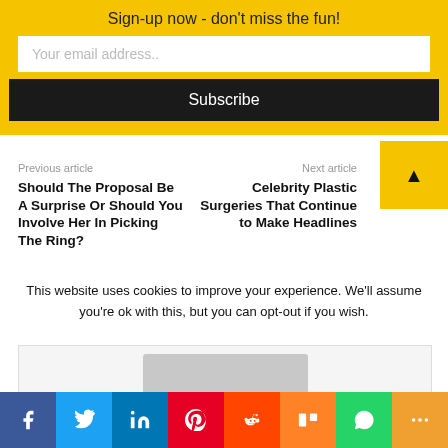Sign-up now - don't miss the fun!
Your email address..
Subscribe
Previous article
Should The Proposal Be A Surprise Or Should You Involve Her In Picking The Ring?
Next article
Celebrity Plastic Surgeries That Continue to Make Headlines
This website uses cookies to improve your experience. We'll assume you're ok with this, but you can opt-out if you wish.
[Figure (other): Social media share bar with icons: Facebook, Twitter, LinkedIn, Pinterest, Reddit, Mix, WhatsApp, More]